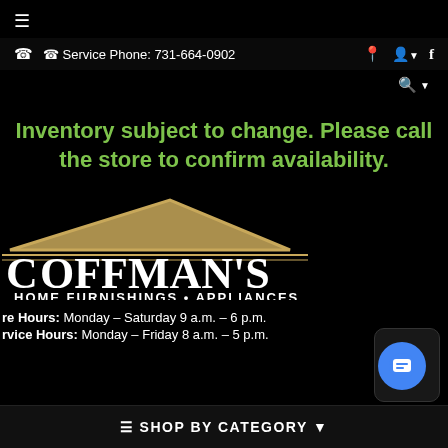≡
☎  ☎ Service Phone: 731-664-0902  📍  👤▾  f
🔍▾
Inventory subject to change. Please call the store to confirm availability.
[Figure (logo): Coffman's Home Furnishings · Appliances logo with house rooftop graphic in gold, large white serif text COFFMAN'S and subtitle HOME FURNISHINGS • APPLIANCES]
Store Hours: Monday – Saturday 9 a.m. – 6 p.m.
Service Hours: Monday – Friday 8 a.m. – 5 p.m.
≡ SHOP BY CATEGORY ▾